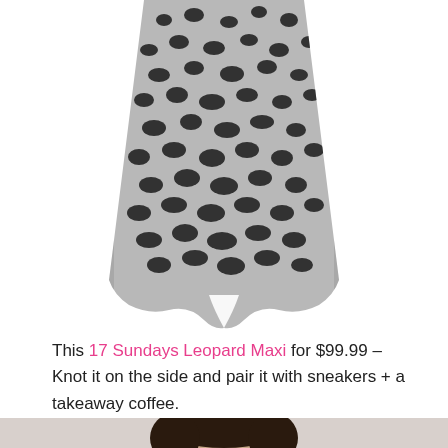[Figure (photo): A gray and black leopard print maxi skirt shown from the waist down, with a slit at the hem, on a white background.]
This 17 Sundays Leopard Maxi for $99.99 – Knot it on the side and pair it with sneakers + a takeaway coffee.
[Figure (photo): A dark-haired woman photographed from the shoulders up, partially visible at the bottom of the page.]